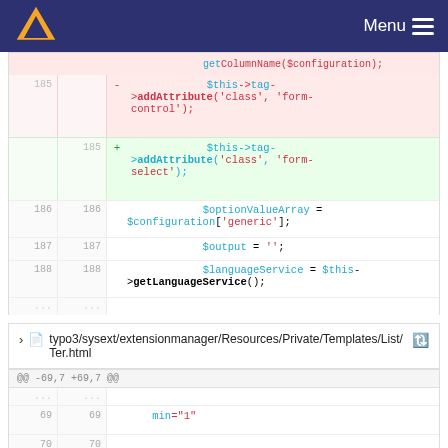Menu
[Figure (screenshot): Code diff showing PHP code changes: line 185 deleted ($this->tag->addAttribute('class', 'form-control');) and line 185 added ($this->tag->addAttribute('class', 'form-select');), followed by context lines 186-188 and ellipsis.]
typo3/sysext/extensionmanager/Resources/Private/Templates/List/Ter.html
[Figure (screenshot): Code diff showing HTML file with hunk header @@ -69,7 +69,7 @@, line 69 context showing min="1", and partial line 70.]